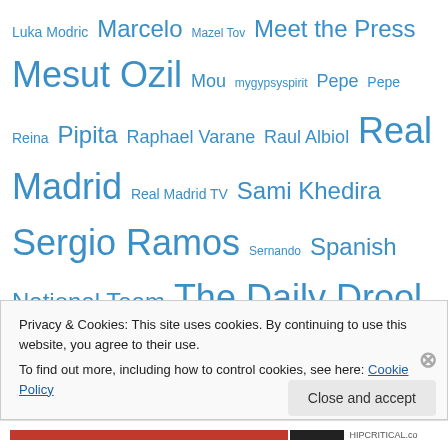Luka Modric Marcelo Mazel Tov Meet the Press Mesut Ozil Mou mygypsyspirit Pepe Pepe Reina Pipita Raphael Varane Raul Albiol Real Madrid Real Madrid TV Sami Khedira Sergio Ramos Sernando Spanish National Team The Daily Drool They Say It's Your Birthday Training Day Travel Pix Watishista Correspondents World Cup 2014 Xabi Alonso Zinedine Zidane Zizou
Privacy & Cookies: This site uses cookies. By continuing to use this website, you agree to their use.
To find out more, including how to control cookies, see here: Cookie Policy
Close and accept